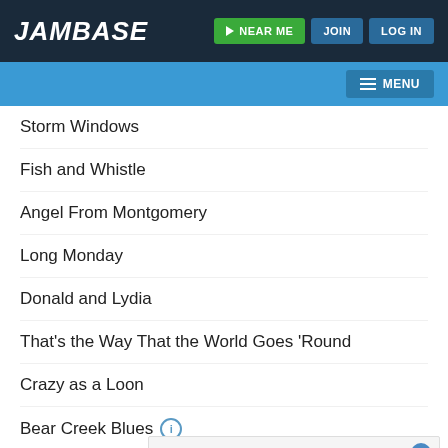JAMBASE | NEAR ME | JOIN | LOG IN | MENU
Storm Windows
Fish and Whistle
Angel From Montgomery
Long Monday
Donald and Lydia
That's the Way That the World Goes 'Round
Crazy as a Loon
Bear Creek Blues
Lake Marie
ENCORE
Paradise
Setlis
[Figure (screenshot): Advertisement overlay with close button (X), showing 'ADVERTISEMENT' label and empty ad body area]